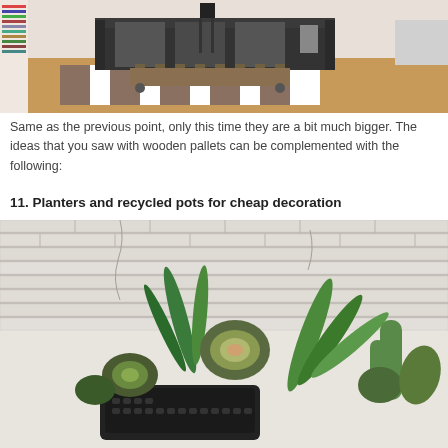[Figure (photo): Living room interior with a dark sofa, striped rug, wooden pallet coffee table with wheels, bookshelves on the left, hardwood floor]
Same as the previous point, only this time they are a bit much bigger. The ideas that you saw with wooden pallets can be complemented with the following:
11. Planters and recycled pots for cheap decoration
[Figure (photo): Succulents and various green plants arranged in an old typewriter on a white cracked brick wall background]